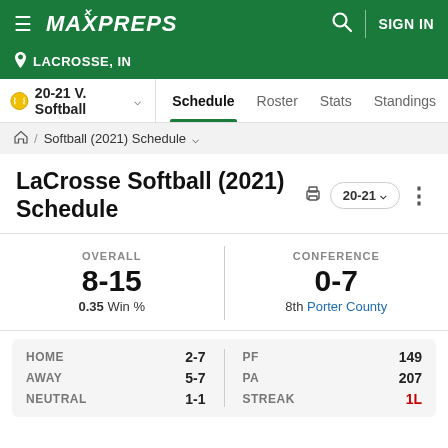MaxPreps — LACROSSE, IN
LaCrosse Softball (2021) Schedule
OVERALL 8-15 0.35 Win % | CONFERENCE 0-7 8th Porter County
|  |  |
| --- | --- |
| HOME | 2-7 |
| AWAY | 5-7 |
| NEUTRAL | 1-1 |
| PF | 149 |
| PA | 207 |
| STREAK | 1L |